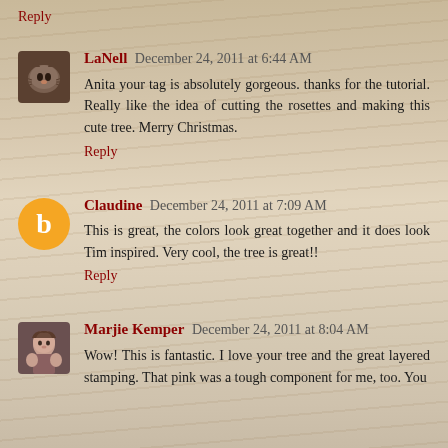Reply
LaNell  December 24, 2011 at 6:44 AM
Anita your tag is absolutely gorgeous. thanks for the tutorial. Really like the idea of cutting the rosettes and making this cute tree. Merry Christmas.
Reply
Claudine  December 24, 2011 at 7:09 AM
This is great, the colors look great together and it does look Tim inspired. Very cool, the tree is great!!
Reply
Marjie Kemper  December 24, 2011 at 8:04 AM
Wow! This is fantastic. I love your tree and the great layered stamping. That pink was a tough component for me, too. You